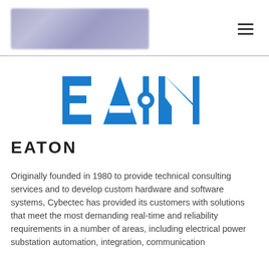[Figure (logo): Blurred/redacted header logo image with purple-blue gradient appearance]
[Figure (logo): Eaton corporate logo in blue with stylized E-A-T-O-N lettering]
EATON
Originally founded in 1980 to provide technical consulting services and to develop custom hardware and software systems, Cybectec has provided its customers with solutions that meet the most demanding real-time and reliability requirements in a number of areas, including electrical power substation automation, integration, communication